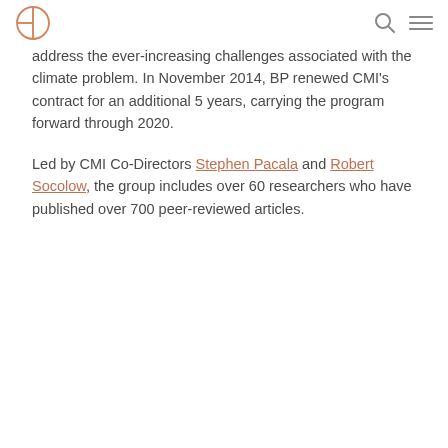CMI logo, search icon, menu icon
address the ever-increasing challenges associated with the climate problem. In November 2014, BP renewed CMI's contract for an additional 5 years, carrying the program forward through 2020.
Led by CMI Co-Directors Stephen Pacala and Robert Socolow, the group includes over 60 researchers who have published over 700 peer-reviewed articles.